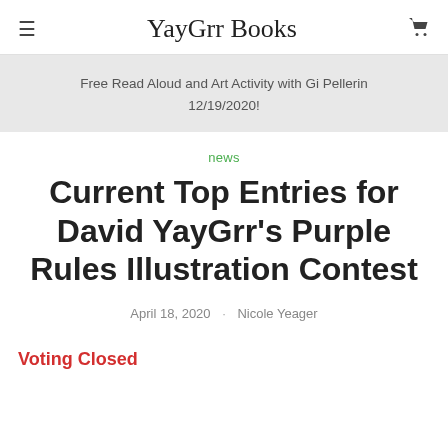YayGrr Books
Free Read Aloud and Art Activity with Gi Pellerin 12/19/2020!
news
Current Top Entries for David YayGrr's Purple Rules Illustration Contest
April 18, 2020 · Nicole Yeager
Voting Closed